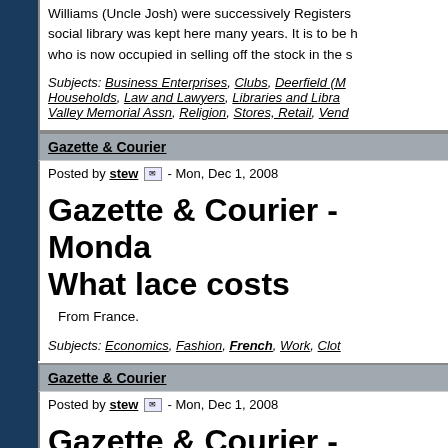Williams (Uncle Josh) were successively Registers... social library was kept here many years. It is to be h... who is now occupied in selling off the stock in the s...
Subjects: Business Enterprises, Clubs, Deerfield (M..., Households, Law and Lawyers, Libraries and Libra..., Valley Memorial Assn, Religion, Stores, Retail, Vend...
Gazette & Courier
Posted by stew - Mon, Dec 1, 2008
Gazette & Courier - Monda... What lace costs
From France.
Subjects: Economics, Fashion, French, Work, Clot...
Gazette & Courier
Posted by stew - Mon, Dec 1, 2008
Gazette & Courier - Monda... Horrible disaster